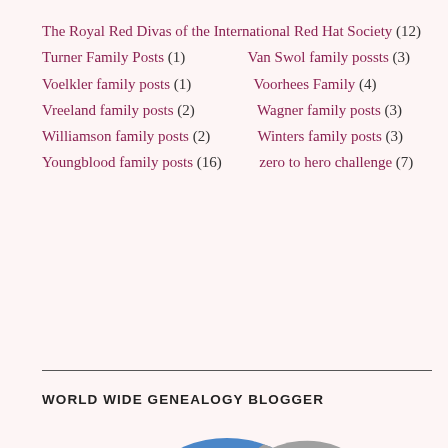The Royal Red Divas of the International Red Hat Society (12)
Turner Family Posts (1)    Van Swol family possts (3)
Voelkler family posts (1)    Voorhees Family (4)
Vreeland family posts (2)    Wagner family posts (3)
Williamson family posts (2)    Winters family posts (3)
Youngblood family posts (16)    zero to hero challenge (7)
WORLD WIDE GENEALOGY BLOGGER
[Figure (logo): World Wide Genealogy logo: a globe showing world map in blue and grey with red bold text 'WORLDWIDE GENEALOGY' overlaid on the lower portion]